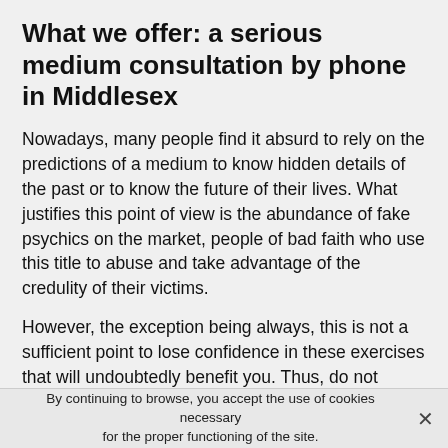What we offer: a serious medium consultation by phone in Middlesex
Nowadays, many people find it absurd to rely on the predictions of a medium to know hidden details of the past or to know the future of their lives. What justifies this point of view is the abundance of fake psychics on the market, people of bad faith who use this title to abuse and take advantage of the credulity of their victims.
However, the exception being always, this is not a sufficient point to lose confidence in these exercises that will undoubtedly benefit you. Thus, do not hesitate to consult us if you feel stressed, lost or unlucky, in order to discover the meaning of the events that arise in your life. In addition, it is very helpful because you need to realize that you are not alone in the situations you face. Many people
By continuing to browse, you accept the use of cookies necessary for the proper functioning of the site.